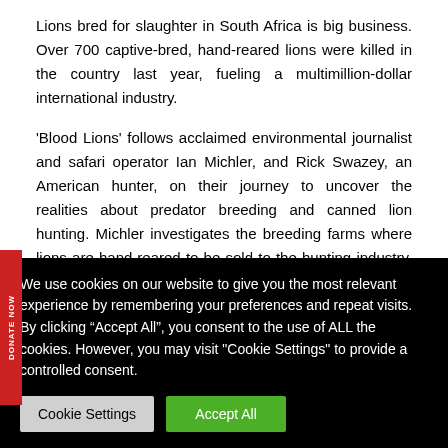Lions bred for slaughter in South Africa is big business. Over 700 captive-bred, hand-reared lions were killed in the country last year, fueling a multimillion-dollar international industry.
'Blood Lions' follows acclaimed environmental journalist and safari operator Ian Michler, and Rick Swazey, an American hunter, on their journey to uncover the realities about predator breeding and canned lion hunting. Michler investigates the breeding farms where lions are hand-reared to be sold to the hunting industry. We witness the results of battery farming that provide stark contrast to lives of wild lions.
We use cookies on our website to give you the most relevant experience by remembering your preferences and repeat visits. By clicking “Accept All”, you consent to the use of ALL the cookies. However, you may visit "Cookie Settings" to provide a controlled consent.